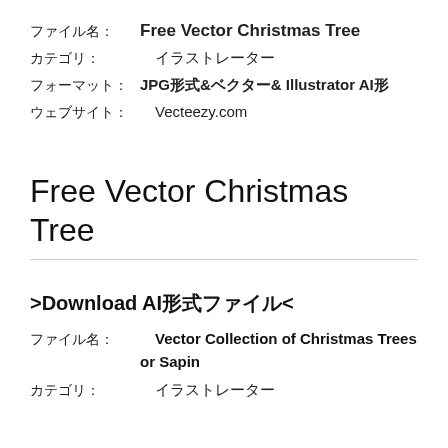ファイル名: Free Vector Christmas Tree
カテゴリ: イラストレーター
フォーマット: JPG形式&ベクター& Illustrator AI形
ウェブサイト: Vecteezy.com
Free Vector Christmas Tree
>Download AI形式ファイル<
ファイル名: Vector Collection of Christmas Trees or Sapin
カテゴリ: イラストレーター